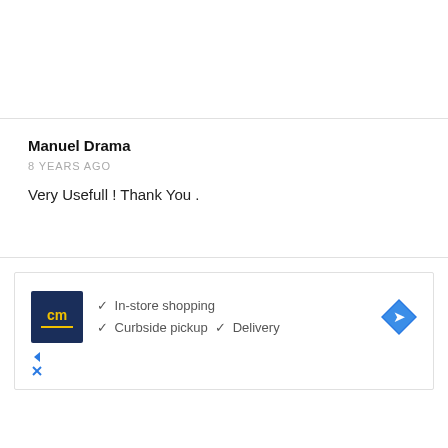Manuel Drama
8 YEARS AGO
Very Usefull ! Thank You .
[Figure (other): Advertisement banner for a store with logo 'cm', checkmarks for In-store shopping, Curbside pickup, Delivery, and a blue navigation arrow icon]